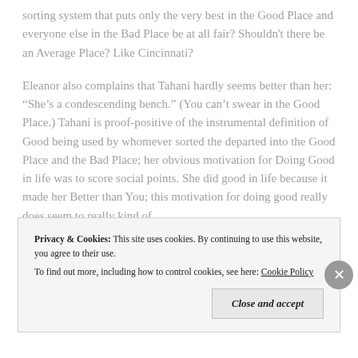sorting system that puts only the very best in the Good Place and everyone else in the Bad Place be at all fair? Shouldn't there be an Average Place? Like Cincinnati?
Eleanor also complains that Tahani hardly seems better than her: “She’s a condescending bench.” (You can’t swear in the Good Place.) Tahani is proof-positive of the instrumental definition of Good being used by whomever sorted the departed into the Good Place and the Bad Place; her obvious motivation for Doing Good in life was to score social points. She did good in life because it made her Better than You; this motivation for doing good really does seem to really kind of
Privacy & Cookies: This site uses cookies. By continuing to use this website, you agree to their use.
To find out more, including how to control cookies, see here: Cookie Policy
Close and accept